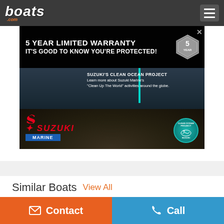boats.com
[Figure (photo): Suzuki Marine advertisement banner: 5 Year Limited Warranty - It's Good To Know You're Protected! / Suzuki's Clean Ocean Project - Learn more about Suzuki Marine's 'Clean Up The World' activities around the globe. Features Suzuki Marine logo and Clean Ocean Project circular badge.]
Similar Boats  View All
Contact   Call